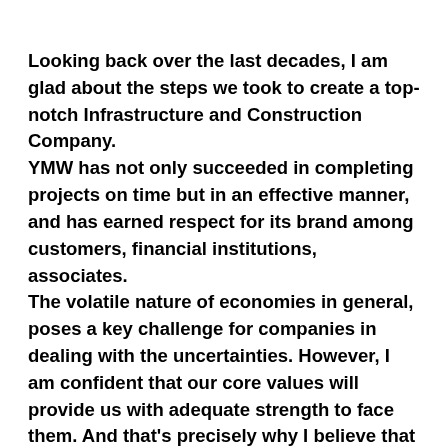Looking back over the last decades, I am glad about the steps we took to create a top-notch Infrastructure and Construction Company.
YMW has not only succeeded in completing projects on time but in an effective manner, and has earned respect for its brand among customers, financial institutions, associates.
The volatile nature of economies in general, poses a key challenge for companies in dealing with the uncertainties. However, I am confident that our core values will provide us with adequate strength to face them. And that's precisely why I believe that YMW is poised for a bigger role in the infrastructure development of the Nation.
Our journey till date has been very challenging. Thanks to our dedicated management team and skilled workforce, we have